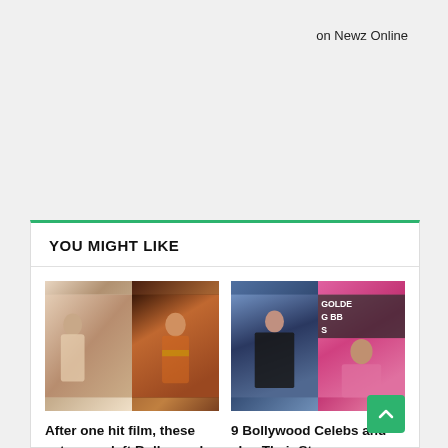on Newz Online
YOU MIGHT LIKE
[Figure (photo): Two Bollywood actress photos side by side - actress in silver gown and actress in red saree]
After one hit film, these actresses left Bollywood or disappeared from bollywood.
[Figure (photo): Two Bollywood celebrity photos - actress in black outfit and actress in pink dress at Golden Globes]
9 Bollywood Celebs and also Their Strange Nicknames